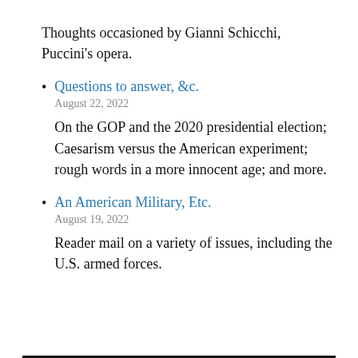Thoughts occasioned by Gianni Schicchi, Puccini's opera.
Questions to answer, &c.
August 22, 2022
On the GOP and the 2020 presidential election; Caesarism versus the American experiment; rough words in a more innocent age; and more.
An American Military, Etc.
August 19, 2022
Reader mail on a variety of issues, including the U.S. armed forces.